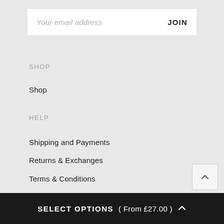Your email address   JOIN
SHOP
Shop
HELP
Shipping and Payments
Returns & Exchanges
Terms & Conditions
Privacy Policy
SELECT OPTIONS  ( From £27.00 )  ^